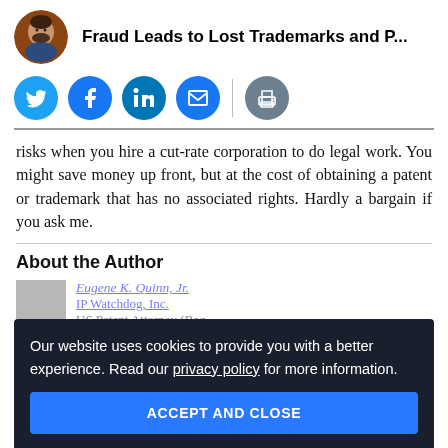Fraud Leads to Lost Trademarks and P...
[Figure (infographic): Social media sharing icons: Twitter, Facebook, LinkedIn, Email, Print]
risks when you hire a cut-rate corporation to do legal work. You might save money up front, but at the cost of obtaining a patent or trademark that has no associated rights. Hardly a bargain if you ask me.
About the Author
Our website uses cookies to provide you with a better experience. Read our privacy policy for more information.
ACCEPT AND CLOSE
Eugene K. Quinn, Jr.
IP Watchdog, Inc.
US Patent Attorney (Reg.